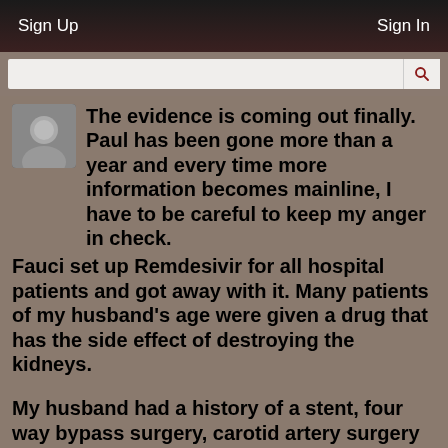Sign Up   Sign In
The evidence is coming out finally. Paul has been gone more than a year and every time more information becomes mainline, I have to be careful to keep my anger in check.
Fauci set up Remdesivir for all hospital patients and got away with it. Many patients of my husband's age were given a drug that has the side effect of destroying the kidneys.
My husband had a history of a stent, four way bypass surgery, carotid artery surgery on both sides and hiatal hernia surgery where 2/3 of his stomach was in his chest. He survived all of that but was unable to survive having his kidneys destroyed by a lethal drug. Remdesivir created a situation where his lungs filled with fluid and then his heart could not handle the overload and he died of heart failure.